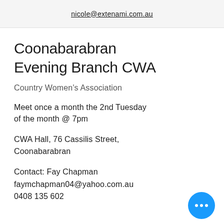nicole@extenami.com.au
Coonabarabran Evening Branch CWA
Country Women's Association
Meet once a month the 2nd Tuesday of the month @ 7pm
CWA Hall, 76 Cassilis Street, Coonabarabran
Contact: Fay Chapman
faymchapman04@yahoo.com.au
0408 135 602